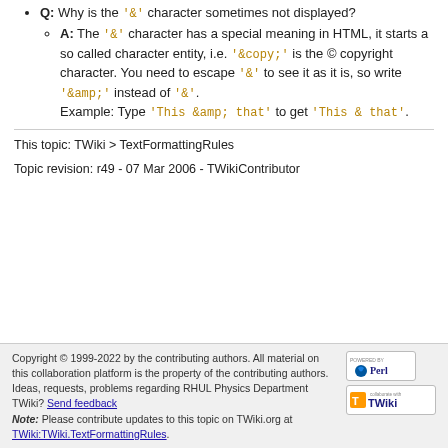Q: Why is the '&' character sometimes not displayed? A: The '&' character has a special meaning in HTML, it starts a so called character entity, i.e. '&copy;' is the © copyright character. You need to escape '&' to see it as it is, so write '&amp;' instead of '&'. Example: Type 'This &amp; that' to get 'This & that'.
This topic: TWiki > TextFormattingRules
Topic revision: r49 - 07 Mar 2006 - TWikiContributor
Copyright © 1999-2022 by the contributing authors. All material on this collaboration platform is the property of the contributing authors. Ideas, requests, problems regarding RHUL Physics Department TWiki? Send feedback Note: Please contribute updates to this topic on TWiki.org at TWiki:TWiki.TextFormattingRules.